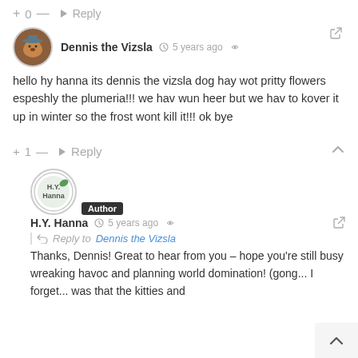+ 0 — ➜ Reply
Dennis the Vizsla  ⏱ 5 years ago
hello hy hanna its dennis the vizsla dog hay wot pritty flowers espeshly the plumeria!!! we hav wun heer but we hav to kover it up in winter so the frost wont kill it!!! ok bye
+ 1 — ➜ Reply
[Figure (illustration): H.Y. Hanna avatar with Author badge]
H.Y. Hanna  ⏱ 5 years ago
Reply to Dennis the Vizsla
Thanks, Dennis! Great to hear from you – hope you're still busy wreaking havoc and planning world domination! (gong... I forget... was that the kitties and